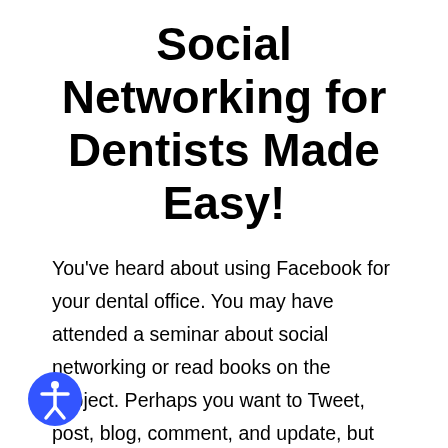Social Networking for Dentists Made Easy!
You've heard about using Facebook for your dental office. You may have attended a seminar about social networking or read books on the subject. Perhaps you want to Tweet, post, blog, comment, and update, but you just don't have time. How can you reap the benefits of social networking without squeezing time from your already hectic schedule? The answer is simple. Call MDPM.